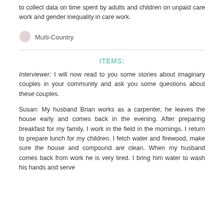to collect data on time spent by adults and children on unpaid care work and gender inequality in care work.
[Figure (illustration): Globe/earth icon representing Multi-Country]
Multi-Country
ITEMS:
Interviewer: I will now read to you some stories about imaginary couples in your community and ask you some questions about these couples.
Susan: My husband Brian works as a carpenter, he leaves the house early and comes back in the evening. After preparing breakfast for my family, I work in the field in the mornings. I return to prepare lunch for my children. I fetch water and firewood, make sure the house and compound are clean. When my husband comes back from work he is very tired. I bring him water to wash his hands and serve